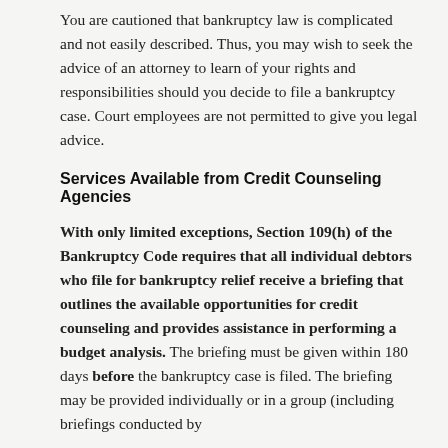You are cautioned that bankruptcy law is complicated and not easily described. Thus, you may wish to seek the advice of an attorney to learn of your rights and responsibilities should you decide to file a bankruptcy case. Court employees are not permitted to give you legal advice.
Services Available from Credit Counseling Agencies
With only limited exceptions, Section 109(h) of the Bankruptcy Code requires that all individual debtors who file for bankruptcy relief receive a briefing that outlines the available opportunities for credit counseling and provides assistance in performing a budget analysis. The briefing must be given within 180 days before the bankruptcy case is filed. The briefing may be provided individually or in a group (including briefings conducted by